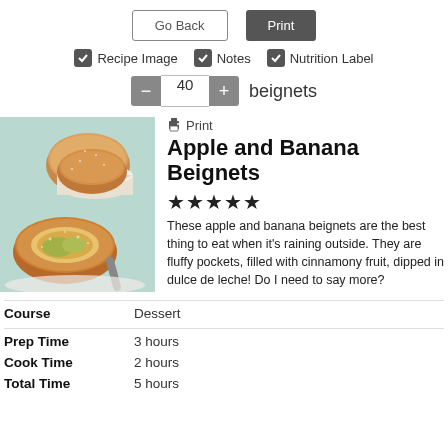Go Back | Print
Recipe Image  Notes  Nutrition Label
40 beignets
Apple and Banana Beignets
[Figure (photo): Photo of apple and banana beignets dusted with sugar, one cut open showing fruit filling, served on a plate with a small white bowl]
These apple and banana beignets are the best thing to eat when it's raining outside. They are fluffy pockets, filled with cinnamony fruit, dipped in dulce de leche! Do I need to say more?
|  |  |
| --- | --- |
| Course | Dessert |
| Prep Time | 3 hours |
| Cook Time | 2 hours |
| Total Time | 5 hours |